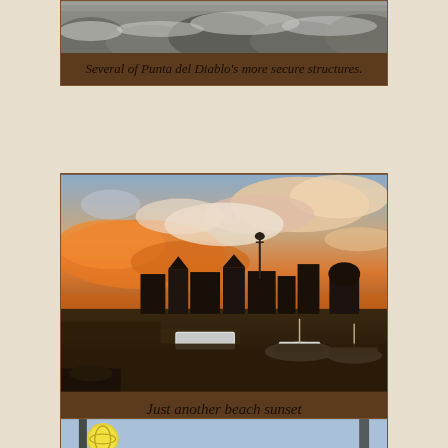[Figure (photo): Partial view of rocks/stone structures at Punta del Diablo, grayscale/muted tones]
Several of Punta del Diablo's more secure structures.
[Figure (photo): Sunset over a beach town with boats on shore and dramatic orange-pink clouds in the sky]
Just another beach sunset
[Figure (photo): Partial view of a beach scene, partially cut off at bottom of page]